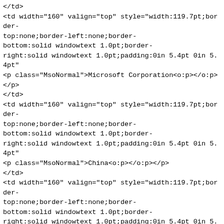</td>
<td width="160" valign="top" style="width:119.7pt;border-top:none;border-left:none;border-bottom:solid windowtext 1.0pt;border-right:solid windowtext 1.0pt;padding:0in 5.4pt 0in 5.4pt">
<p class="MsoNormal">Microsoft Corporation<o:p></o:p>
</p>
</td>
<td width="160" valign="top" style="width:119.7pt;border-top:none;border-left:none;border-bottom:solid windowtext 1.0pt;border-right:solid windowtext 1.0pt;padding:0in 5.4pt 0in 5.4pt">
<p class="MsoNormal">China<o:p></o:p></p>
</td>
<td width="160" valign="top" style="width:119.7pt;border-top:none;border-left:none;border-bottom:solid windowtext 1.0pt;border-right:solid windowtext 1.0pt;padding:0in 5.4pt 0in 5.4pt">
<p class="MsoNormal">216<o:p></o:p></p>
</td>
</tr>
<tr>
<td width="160" valign="top" style="width:119.7pt;border-top:none;padding:0in 5.4pt 0in 5.4pt">
<p class="MsoNormal">111.221.28.*<o:p></o:p></p>
</td>
<td width="160" valign="top" style="width:119.7pt;border-top:none;border-left:none;border-bottom:solid windowtext 1.0pt;border-right:solid windowtext 1.0pt;padding:0in 5.4pt 0in 5.4pt